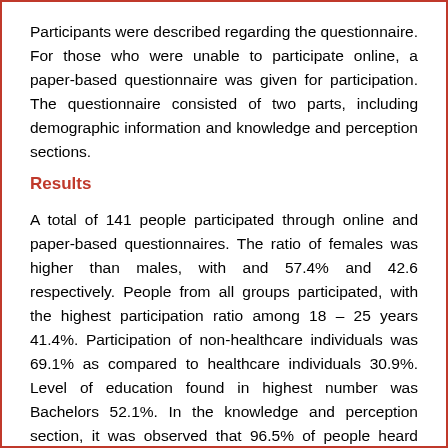Participants were described regarding the questionnaire. For those who were unable to participate online, a paper-based questionnaire was given for participation. The questionnaire consisted of two parts, including demographic information and knowledge and perception sections.
Results
A total of 141 people participated through online and paper-based questionnaires. The ratio of females was higher than males, with and 57.4% and 42.6 respectively. People from all groups participated, with the highest participation ratio among 18 – 25 years 41.4%. Participation of non-healthcare individuals was 69.1% as compared to healthcare individuals 30.9%. Level of education found in highest number was Bachelors 52.1%. In the knowledge and perception section, it was observed that 96.5% of people heard about COVID-19. Majority of people 92.8% agreed on the fact that COVID-19 is a contagious disease; while 4.3% did not agree on the statement. The percentage of gender is summarized in Table